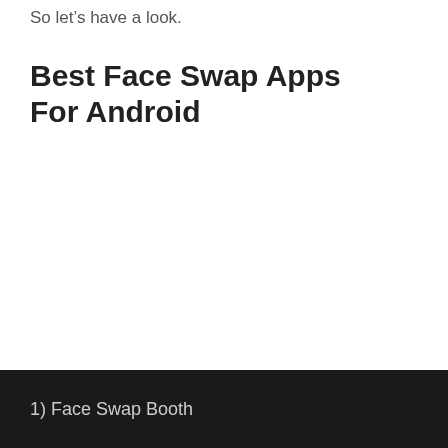So let's have a look.
Best Face Swap Apps For Android
1) Face Swap Booth